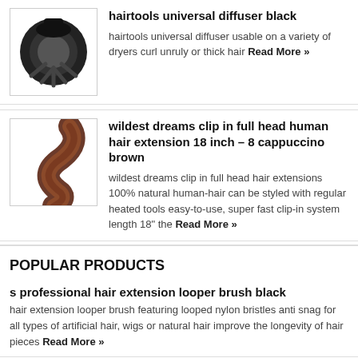hairtools universal diffuser black
hairtools universal diffuser usable on a variety of dryers curl unruly or thick hair Read More »
wildest dreams clip in full head human hair extension 18 inch – 8 cappuccino brown
wildest dreams clip in full head hair extensions 100% natural human-hair can be styled with regular heated tools easy-to-use, super fast clip-in system length 18" the Read More »
POPULAR PRODUCTS
s professional hair extension looper brush black
hair extension looper brush featuring looped nylon bristles anti snag for all types of artificial hair, wigs or natural hair improve the longevity of hair pieces Read More »
salon services sticky foot pink